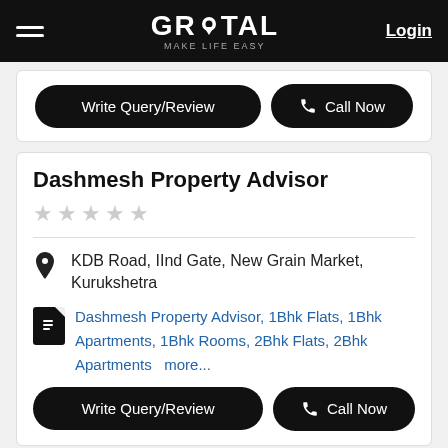GROTAL MAKE LIFE EASY  Login
[Figure (screenshot): Partial card with Write Query/Review and Call Now buttons]
Dashmesh Property Advisor
KDB Road, IInd Gate, New Grain Market, Kurukshetra
Dashmesh Property Advisor, 1Bhk Flats, 1Bhk Apartments, 1Bhk Rooms, 2Bhk Flats, 2Bhk Apartments  more...
Write Query/Review  Call Now